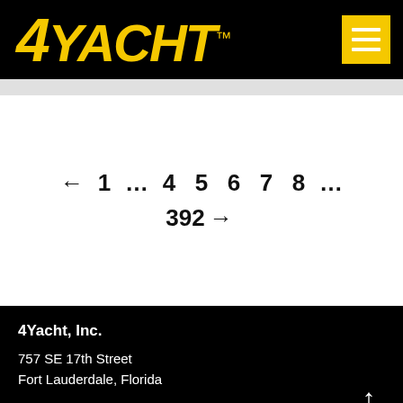4Yacht
← 1 … 4 5 6 7 8 … 392 →
4Yacht, Inc.
757 SE 17th Street
Fort Lauderdale, Florida